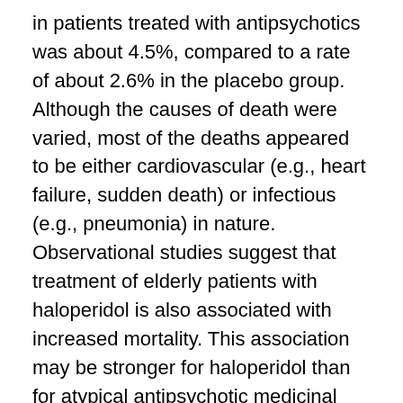in patients treated with antipsychotics was about 4.5%, compared to a rate of about 2.6% in the placebo group. Although the causes of death were varied, most of the deaths appeared to be either cardiovascular (e.g., heart failure, sudden death) or infectious (e.g., pneumonia) in nature. Observational studies suggest that treatment of elderly patients with haloperidol is also associated with increased mortality. This association may be stronger for haloperidol than for atypical antipsychotic medicinal products, is most pronounced in the first 30 days after the start of treatment, and persists for at least 6 months. The extent to which this association is attributable to the medicinal product, as opposed to being confounded by patient characteristics, has not yet